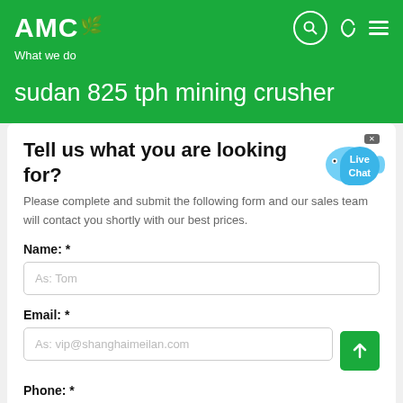AMC — What we do
sudan 825 tph mining crusher
Tell us what you are looking for?
Please complete and submit the following form and our sales team will contact you shortly with our best prices.
Name: *
As: Tom
Email: *
As: vip@shanghaimeilan.com
Phone: *
With Country Code